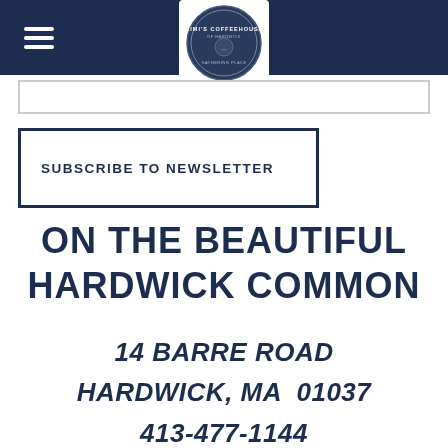Mimi's Coffeehouse of Hardwick
[Figure (logo): Mimi's Coffeehouse of Hardwick circular logo badge]
SUBSCRIBE TO NEWSLETTER
ON THE BEAUTIFUL HARDWICK COMMON
14 BARRE ROAD
HARDWICK, MA  01037
413-477-1144